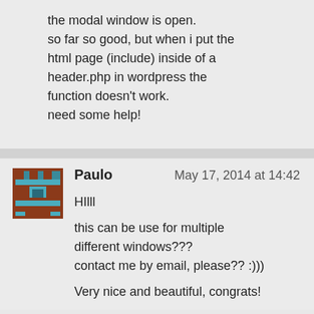the modal window is open.
so far so good, but when i put the html page (include) inside of a header.php in wordpress the function doesn't work.
need some help!
[Figure (illustration): Pixel art avatar icon showing a castle/tower motif in brown and teal colors]
Paulo
May 17, 2014 at 14:42
HIll
this can be use for multiple different windows???
contact me by email, please?? :)))
Very nice and beautiful, congrats!